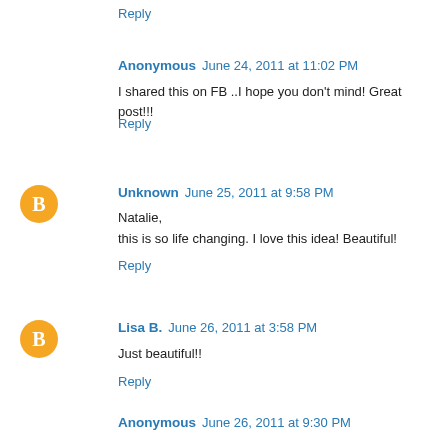Reply
Anonymous  June 24, 2011 at 11:02 PM
I shared this on FB ..I hope you don't mind! Great post!!!
Reply
Unknown  June 25, 2011 at 9:58 PM
Natalie,
this is so life changing. I love this idea! Beautiful!
Reply
Lisa B.  June 26, 2011 at 3:58 PM
Just beautiful!!
Reply
Anonymous  June 26, 2011 at 9:30 PM